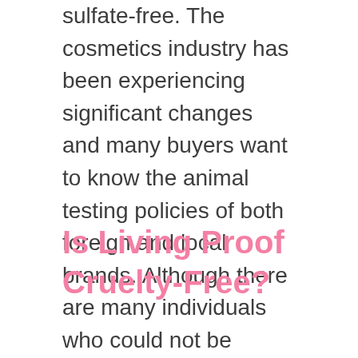sulfate-free. The cosmetics industry has been experiencing significant changes and many buyers want to know the animal testing policies of both foreign and local brands. Although there are many individuals who could not be bothered, the quest for cruelty-free and vegan makeup as well as skincare products has been growing steadily.
Is Living Proof Cruelty-Free?